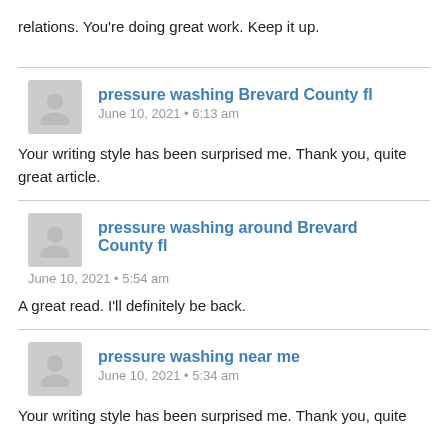relations. You're doing great work. Keep it up.
pressure washing Brevard County fl
June 10, 2021 • 6:13 am
Your writing style has been surprised me. Thank you, quite great article.
pressure washing around Brevard County fl
June 10, 2021 • 5:54 am
A great read. I'll definitely be back.
pressure washing near me
June 10, 2021 • 5:34 am
Your writing style has been surprised me. Thank you, quite